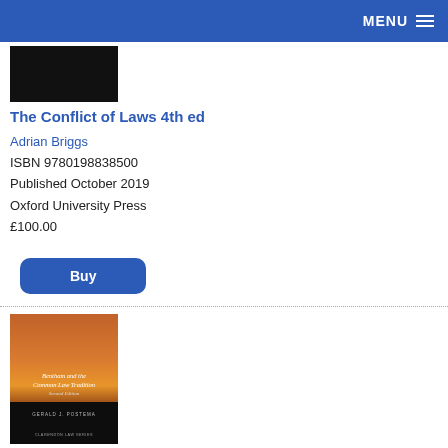MENU
[Figure (photo): Book cover of The Conflict of Laws 4th ed, dark/black cover]
The Conflict of Laws 4th ed
Adrian Briggs
ISBN 9780198838500
Published October 2019
Oxford University Press
£100.00
Buy
[Figure (photo): Book cover of Bentham and the Common Law Tradition 2nd ed, orange/sunset cover with author Gerald J. Postema, Clarendon Law Series]
Bentham and the Common Law Tradition 2nd ed
Gerald J. Postema